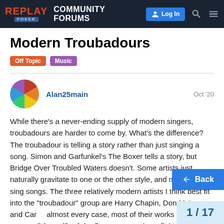Replay Poker – COMMUNITY FORUMS – Log In
Modern Troubadours
Off Topic  Music
Alan25main  Oct '20
While there's a never-ending supply of modern singers, troubadours are harder to come by. What's the difference? The troubadour is telling a story rather than just singing a song. Simon and Garfunkel's The Boxer tells a story, but Bridge Over Troubled Waters doesn't. Some artists just naturally gravitate to one or the other style, and most just sing songs. The three relatively modern artists I think best fit into the "troubadour" group are Harry Chapin, Don McLean, and Carl... almost every case, most of their works are telling a story. Others, like John Denver, sometimes fit in sometimes not so much. I'll put up an exam...